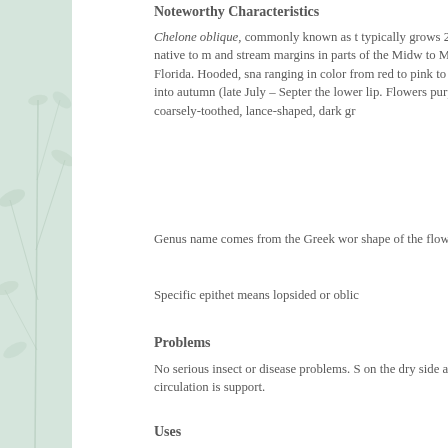[Figure (illustration): Decorative left panel with pale green/mint background and subtle botanical line illustration of plant stems and leaves]
Noteworthy Characteristics
Chelone oblique, commonly known as [turtlehead], typically grows 2-3' tall. It is native to moist woods and stream margins in parts of the Midwest south to Mississippi and Florida. Hooded, snapdragon-like flowers ranging in color from red to pink to deep rose bloom from summer into autumn (late July – September). Beard on the lower lip. Flowers purportedly resemble a turtle. Coarsely-toothed, lance-shaped, dark gr[een leaves].
Genus name comes from the Greek wo[rd for turtle], shape of the flowers.
Specific epithet means lopsided or obli[que].
Problems
No serious insect or disease problems. S[oil kept] on the dry side and/or air circulation is [poor may need] support.
Uses
Shade or woodland gardens. Native pla[nts].